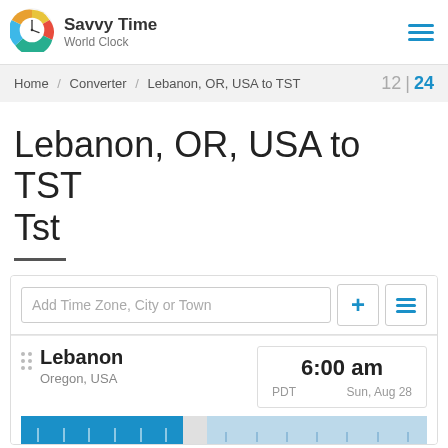[Figure (logo): Savvy Time World Clock logo - colorful circular clock icon]
Savvy Time
World Clock
Home / Converter / Lebanon, OR, USA to TST    12 | 24
Lebanon, OR, USA to TST Tst
Add Time Zone, City or Town
Lebanon
Oregon, USA
6:00 am
PDT
Sun, Aug 28